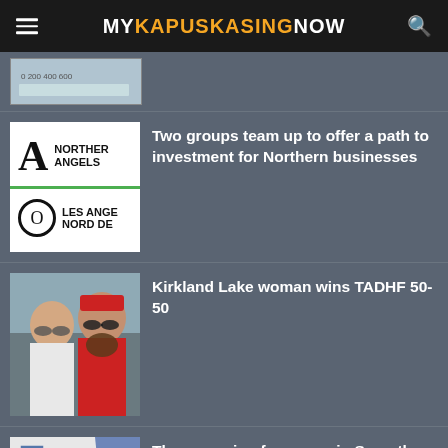MY KAPUSKASING NOW
[Figure (photo): Partial thumbnail of a map or chart at the top]
[Figure (logo): Northern Angels / Les Anges du Nord logo with large A and O letters]
Two groups team up to offer a path to investment for Northern businesses
[Figure (photo): Photo of a couple wearing sunglasses outdoors, man in red shirt with beard]
Kirkland Lake woman wins TADHF 50-50
[Figure (illustration): Partial illustration showing document/ballot icons with blue diagonal stripe]
Three running for mayor in Smooth Rock Falls